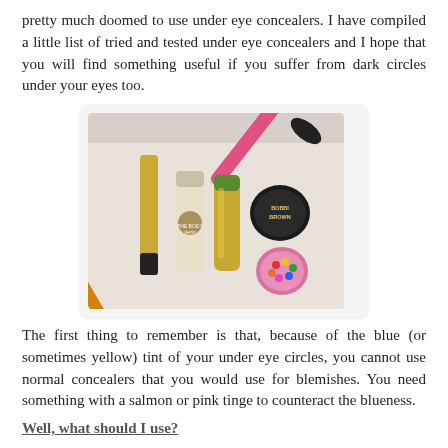pretty much doomed to use under eye concealers. I have compiled a little list of tried and tested under eye concealers and I hope that you will find something useful if you suffer from dark circles under your eyes too.
[Figure (photo): A flat-lay photo of several makeup products on a light surface: a gold/black mascara or concealer wand, a The Body Shop tube, a gold-colored tube with green cap, a black Bobbi Brown compact, a pink compact with colorful beads, and a pink-handled makeup brush diagonally in the background.]
The first thing to remember is that, because of the blue (or sometimes yellow) tint of your under eye circles, you cannot use normal concealers that you would use for blemishes. You need something with a salmon or pink tinge to counteract the blueness.
Well, what should I use?